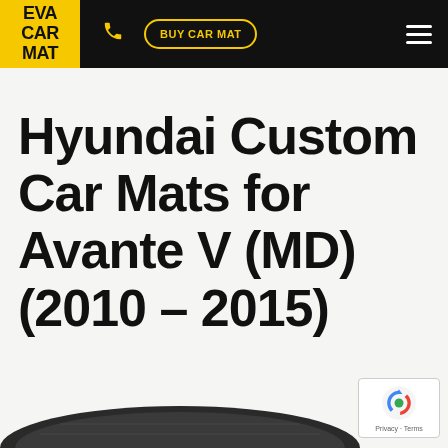EVA CAR MAT | BUY CAR MAT
Hyundai Custom Car Mats for Avante V (MD) (2010 – 2015)
[Figure (photo): Partial view of a car mat product at the bottom of the page]
[Figure (logo): Google reCAPTCHA badge with privacy and terms link]